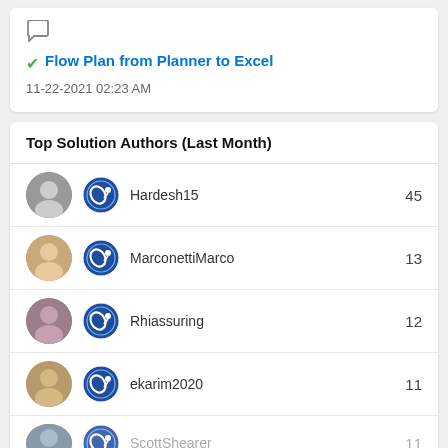[Figure (screenshot): Chat bubble icon]
✔ Flow Plan from Planner to Excel
11-22-2021 02:23 AM
Top Solution Authors (Last Month)
Hardesh15 — 45
MarconettiMarco — 13
Rhiassuring — 12
ekarim2020 — 11
ScottShearer — 11